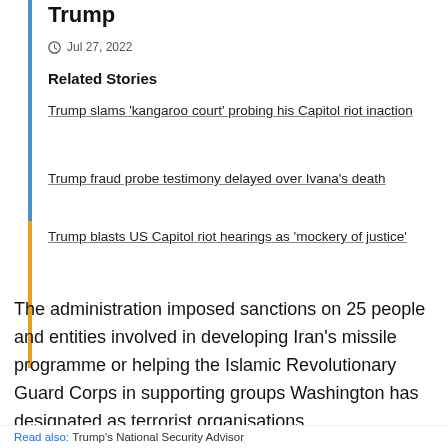Trump
Jul 27, 2022
Related Stories
Trump slams 'kangaroo court' probing his Capitol riot inaction
Trump fraud probe testimony delayed over Ivana's death
Trump blasts US Capitol riot hearings as 'mockery of justice'
The administration imposed sanctions on 25 people and entities involved in developing Iran's missile programme or helping the Islamic Revolutionary Guard Corps in supporting groups Washington has designated as terrorist organisations.
Trump's National Security Advisor